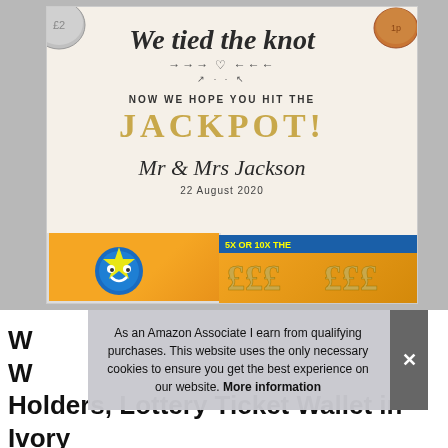[Figure (photo): Photo of a wedding lottery ticket holder card on cream/ivory paper with script text 'We tied the knot', arrows with heart, 'NOW WE HOPE YOU HIT THE JACKPOT!' in gold capitals, 'Mr & Mrs Jackson' in script, '22 August 2020' in serif. Lottery scratch cards visible at bottom. Coins visible at corners on grey background.]
As an Amazon Associate I earn from qualifying purchases. This website uses the only necessary cookies to ensure you get the best experience on our website. More information
Wedding Scratch Card Holders, Lottery Ticket Wallet in Ivory